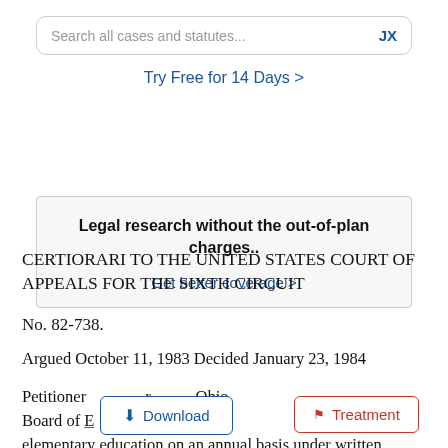[Figure (screenshot): Search bar with placeholder 'Search all cases and statutes...' and 'JX' label on the right]
Try Free for 14 Days >
[Figure (screenshot): Promotional box: 'Legal research without the out-of-plan charges..' with link 'Get better coverage >']
CERTIORARI TO THE UNITED STATES COURT OF APPEALS FOR THE SIXTH CIRCUIT
No. 82-738.
Argued October 11, 1983 Decided January 23, 1984
Petitioner r, Ohio, Board of E as elementary education on an annual basis under written